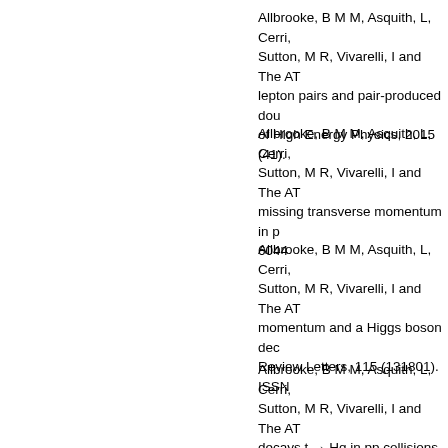Allbrooke, B M M, Asquith, L, Cerri, ... Sutton, M R, Vivarelli, I and The AT... lepton pairs and pair-produced dou... of High Energy Physics, 2015 (41).
Allbrooke, B M M, Asquith, L, Cerri, ... Sutton, M R, Vivarelli, I and The AT... missing transverse momentum in p... 6044
Allbrooke, B M M, Asquith, L, Cerri, ... Sutton, M R, Vivarelli, I and The AT... momentum and a Higgs boson dec... Review Letters, 115 (131801). ISSN
Allbrooke, B M M, Asquith, L, Cerri, ... Sutton, M R, Vivarelli, I and The AT... decays t → Hq in pp collisions at √s...
Allbrooke, B M M, Asquith, L, Cerri, ... Sutton, M R, Vivarelli, I and The AT... detector in pp collisions at √s=8 Te...
Allbrooke, B M M, Asquith, L, Cerri, ... Sutton, M R, Vivarelli, I and The AT... boson and a lepton in pp collision...